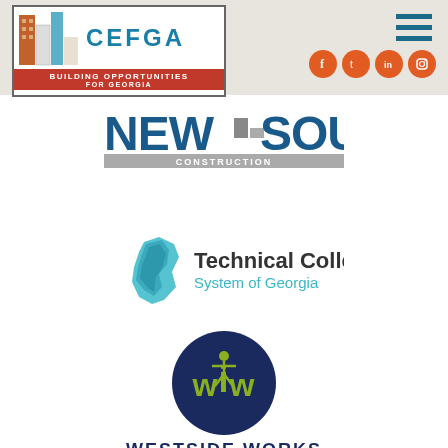[Figure (logo): CEFGA logo - Building Opportunities for Georgia, with construction building graphics]
[Figure (logo): Social media icons: Facebook, Twitter, LinkedIn, Instagram in orange circles]
[Figure (logo): New South Construction logo in blue and gray]
[Figure (logo): Technical College System of Georgia logo with Georgia state outline in teal polygons]
[Figure (logo): Westside Works logo - navy circle with wyw monogram and text WESTSIDE WORKS below]